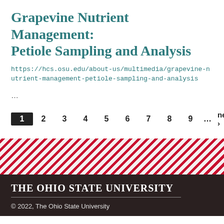Grapevine Nutrient Management: Petiole Sampling and Analysis
https://hcs.osu.edu/about-us/multimedia/grapevine-nutrient-management-petiole-sampling-and-analysis
...
1 2 3 4 5 6 7 8 9 … next › last »
[Figure (other): Diagonal red and white stripe decorative band]
The Ohio State University
© 2022, The Ohio State University